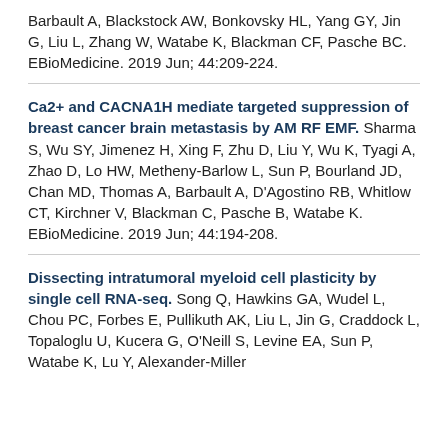Barbault A, Blackstock AW, Bonkovsky HL, Yang GY, Jin G, Liu L, Zhang W, Watabe K, Blackman CF, Pasche BC. EBioMedicine. 2019 Jun; 44:209-224.
Ca2+ and CACNA1H mediate targeted suppression of breast cancer brain metastasis by AM RF EMF. Sharma S, Wu SY, Jimenez H, Xing F, Zhu D, Liu Y, Wu K, Tyagi A, Zhao D, Lo HW, Metheny-Barlow L, Sun P, Bourland JD, Chan MD, Thomas A, Barbault A, D'Agostino RB, Whitlow CT, Kirchner V, Blackman C, Pasche B, Watabe K. EBioMedicine. 2019 Jun; 44:194-208.
Dissecting intratumoral myeloid cell plasticity by single cell RNA-seq. Song Q, Hawkins GA, Wudel L, Chou PC, Forbes E, Pullikuth AK, Liu L, Jin G, Craddock L, Topaloglu U, Kucera G, O'Neill S, Levine EA, Sun P, Watabe K, Lu Y, Alexander-Miller